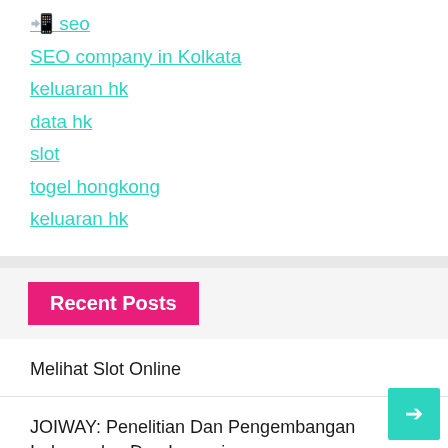🔲🔲 seo
SEO company in Kolkata
keluaran hk
data hk
slot
togel hongkong
keluaran hk
Recent Posts
Melihat Slot Online
JOIWAY: Penelitian Dan Pengembangan Independen Dan Inovasi